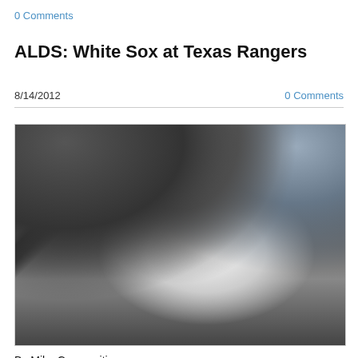0 Comments
ALDS: White Sox at Texas Rangers
8/14/2012
0 Comments
[Figure (photo): Baseball player in white pinstripe uniform swinging a bat, with other players visible in the background in what appears to be a night game.]
By Mike Corasaniti